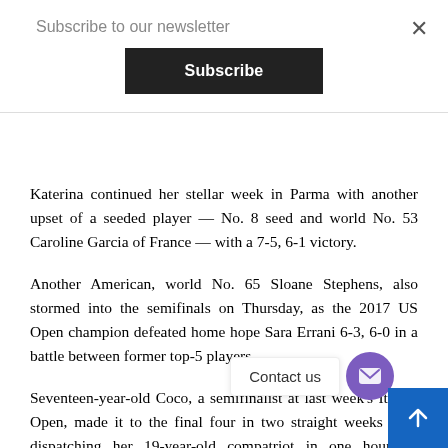Subscribe to our newsletter
Katerina continued her stellar week in Parma with another upset of a seeded player — No. 8 seed and world No. 53 Caroline Garcia of France — with a 7-5, 6-1 victory.
Another American, world No. 65 Sloane Stephens, also stormed into the semifinals on Thursday, as the 2017 US Open champion defeated home hope Sara Errani 6-3, 6-0 in a battle between former top-5 players.
Seventeen-year-old Coco, a semifinalist at last week's Italian Open, made it to the final four in two straight weeks after dispatching her 19-year-old compatriot in one hour 20 minutes.
It was the first professional meeting between Coco and